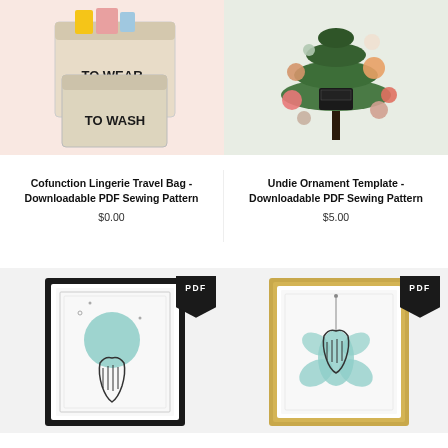[Figure (photo): Two canvas bags labeled 'TO WEAR' and 'TO WASH' on a pink background]
Cofunction Lingerie Travel Bag - Downloadable PDF Sewing Pattern
$0.00
[Figure (photo): Small Christmas tree decorated with pom-poms and ornaments including a black holder with orange and pink pom-poms]
Undie Ornament Template - Downloadable PDF Sewing Pattern
$5.00
[Figure (photo): Framed artwork in a black frame showing a hand holding a teal circle with botanical line drawings, with a PDF badge in the corner]
[Figure (photo): Framed artwork in a gold frame showing a hand holding teal flower shapes with line drawings, with a PDF badge in the corner]